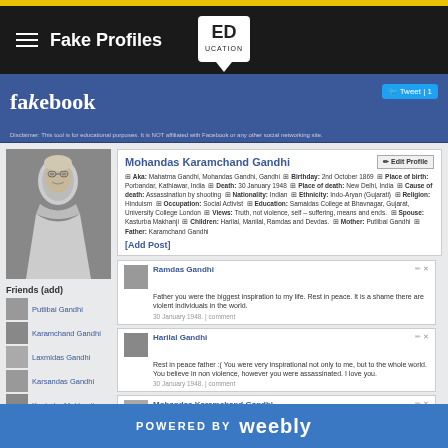Fake Profiles
[Figure (logo): ED UCATION logo in white box]
fakebook — Disclaimer: This tool is for educational purposes. It is NOT affiliated with Facebook or any other social networking site.
Mohandas Karamchand Gandhi
Aka: Mahatma Gandhi, Mohandas Gandhi, Gandhi  Birthday: 2nd October 1869  Place of birth: Porbandar, Kathiawar, India  Death: 30 January 1948  Place of death: New Delhi, India  Cause of death: Assassination by shooting  Nationality: Indian  Ethnicity: Indo-Aryan (Gujarati)  Religion: Hinduism  Occupation: Social Activist  Education: Samaldas College at Bhavnagar, Gujarat, University College London  Views: Truth, non violence, self-suffering, means and ends  Spouse: Kasturba Makhanji  Children: Harilal, Manilal, Ramdas and Devdas  Mother: Putlibai Gandhi  Father: Karamchand Gandhi
[Add Post]
Friends (add)
Putlibai Gandhi
Karamchand Gandhi
Laxmidas Gandhi
Karsandas Gandhi
Kasturba Makhanji
Ramdas Gandhi — Father you were the biggest inspiration to my life. Rest in peace. It is a shame there are violent individuals in the world. 30 January 1948. | comment
Harilal Gandhi — Rest in peace father :( You were very inspirational not only to me, but to the whole world. You believe in non violence, however you were assassinated. I love you. 30 January 1948. | comment
Mohandas Karamchand Gandhi — Today I am discussing issues with various groups and individuals, and then going to the Birla House for a prayer meeting :) 30 January 1948. | comment
Mohandas Karamchand Gandhi — [post content continues]
POWERED BY weebly